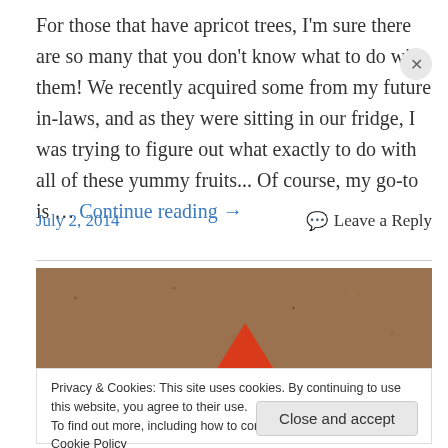For those that have apricot trees, I'm sure there are so many that you don't know what to do with them! We recently acquired some from my future in-laws, and as they were sitting in our fridge, I was trying to figure out what exactly to do with all of these yummy fruits... Of course, my go-to is … Continue reading →
July 2, 2014   Leave a Reply
[Figure (photo): A photo showing a grainy/rocky brown surface (granite-like texture) with a red triangular shape at the bottom center, partially visible.]
Privacy & Cookies: This site uses cookies. By continuing to use this website, you agree to their use.
To find out more, including how to control cookies, see here: Cookie Policy